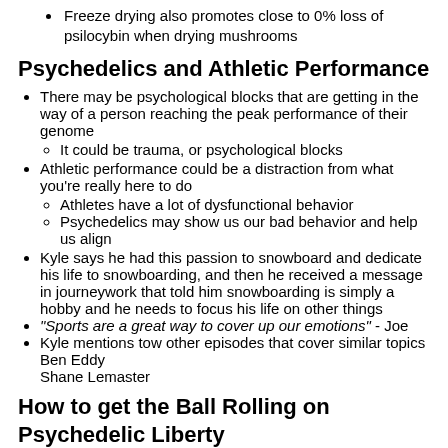Freeze drying also promotes close to 0% loss of psilocybin when drying mushrooms
Psychedelics and Athletic Performance
There may be psychological blocks that are getting in the way of a person reaching the peak performance of their genome
It could be trauma, or psychological blocks
Athletic performance could be a distraction from what you're really here to do
Athletes have a lot of dysfunctional behavior
Psychedelics may show us our bad behavior and help us align
Kyle says he had this passion to snowboard and dedicate his life to snowboarding, and then he received a message in journeywork that told him snowboarding is simply a hobby and he needs to focus his life on other things
“Sports are a great way to cover up our emotions” - Joe
Kyle mentions tow other episodes that cover similar topics
Ben Eddy
Shane Lemaster
How to get the Ball Rolling on Psychedelic Liberty
Start a club
Joe says he’s been incubating a Psychedelic Club in Phoenix